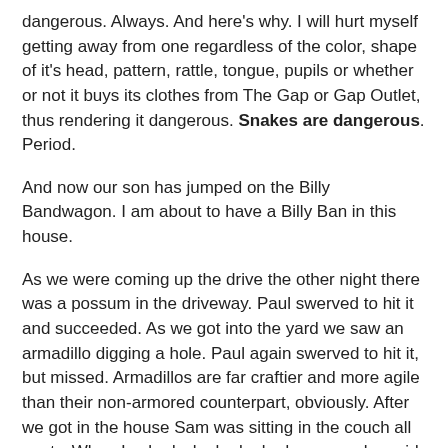dangerous. Always. And here's why. I will hurt myself getting away from one regardless of the color, shape of it's head, pattern, rattle, tongue, pupils or whether or not it buys its clothes from The Gap or Gap Outlet, thus rendering it dangerous. Snakes are dangerous. Period.
And now our son has jumped on the Billy Bandwagon. I am about to have a Billy Ban in this house.
As we were coming up the drive the other night there was a possum in the driveway. Paul swerved to hit it and succeeded. As we got into the yard we saw an armadillo digging a hole. Paul again swerved to hit it, but missed. Armadillos are far craftier and more agile than their non-armored counterpart, obviously. After we got in the house Sam was sitting in the couch all pouty. When I asked why he looked so angry he said it was because Daddy had killed the possum and had tried to kill the armadillo. I explained that they are nasty, disease-ridden creatures who serve no purpose on our property whatsoever. Unless you consider making my dog bark at 4am a purpose -- which I don't.
Then Sam went into this ridiculous redistribution theory...